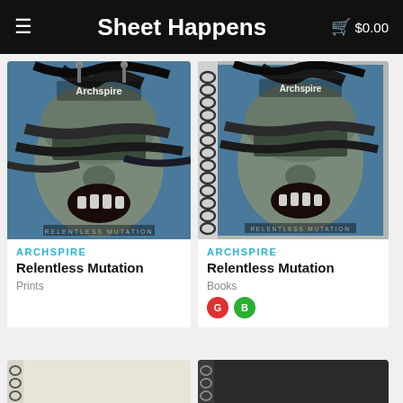Sheet Happens  $0.00
[Figure (photo): Archspire Relentless Mutation album art poster print showing monstrous face with tentacles, stone-like texture, blue background]
[Figure (photo): Archspire Relentless Mutation album art spiral notebook showing same monstrous face artwork with spiral binding on left side]
ARCHSPIRE
Relentless Mutation
Prints
ARCHSPIRE
Relentless Mutation
Books
[Figure (other): Two color swatches labeled G (red circle) and B (green circle)]
[Figure (photo): Partial view of another product at bottom left, appears to be a spiral notebook with light colored cover]
[Figure (photo): Partial view of another product at bottom right, appears to be a dark spiral notebook]